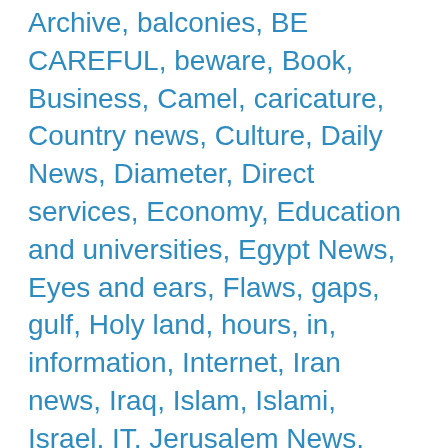Archive, balconies, BE CAREFUL, beware, Book, Business, Camel, caricature, Country news, Culture, Daily News, Diameter, Direct services, Economy, Education and universities, Egypt News, Eyes and ears, Flaws, gaps, gulf, Holy land, hours, in, information, Internet, Iran news, Iraq, Islam, Islami, Israel, IT, Jerusalem News, Jordan, Jordan News, Jordanian news, Jordanian women, Khabarni News Agency, khaberni, khaberni.com, Khairy Mansour, King Abdullah, King Hussain, king hussien, Kingdom Saudi Arabia, kuwait, lebanon news, Libya, Lights, local, local news, Markets, Middle east, modes, Mornoo...